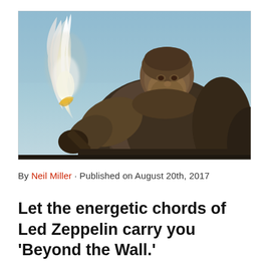[Figure (photo): A large bearded man dressed in heavy fur clothing holds a flaming torch against a pale blue winter sky — a still from Game of Thrones featuring Tormund Giantsbane.]
By Neil Miller · Published on August 20th, 2017
Let the energetic chords of Led Zeppelin carry you 'Beyond the Wall.'